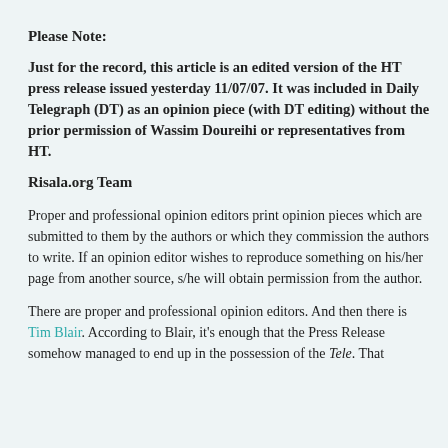Please Note:
Just for the record, this article is an edited version of the HT press release issued yesterday 11/07/07. It was included in Daily Telegraph (DT) as an opinion piece (with DT editing) without the prior permission of Wassim Doureihi or representatives from HT.
Risala.org Team
Proper and professional opinion editors print opinion pieces which are submitted to them by the authors or which they commission the authors to write. If an opinion editor wishes to reproduce something on his/her page from another source, s/he will obtain permission from the author.
There are proper and professional opinion editors. And then there is Tim Blair. According to Blair, it's enough that the Press Release somehow managed to end up in the possession of the Tele. That